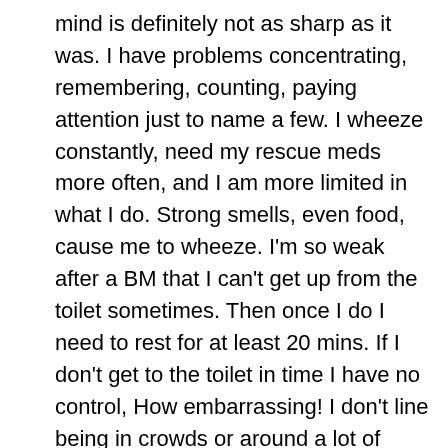mind is definitely not as sharp as it was. I have problems concentrating, remembering, counting, paying attention just to name a few. I wheeze constantly, need my rescue meds more often, and I am more limited in what I do. Strong smells, even food, cause me to wheeze. I'm so weak after a BM that I can't get up from the toilet sometimes. Then once I do I need to rest for at least 20 mins. If I don't get to the toilet in time I have no control, How embarrassing! I don't line being in crowds or around a lot of people due to a childhood incident, and I also don't drive. I take medicine for anxiety, depression, migraine/anti seizure, pain, high blood pressure, asthma and heartburn/GERD. I haven't worked since Jan 2012. There was